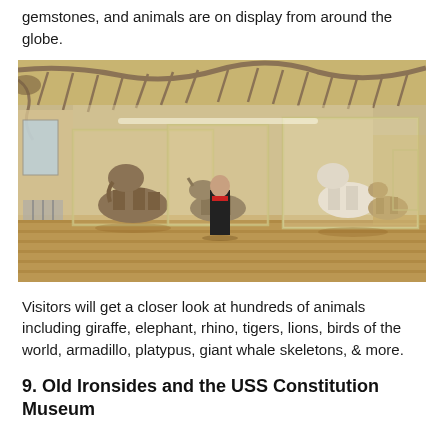gemstones, and animals are on display from around the globe.
[Figure (photo): Interior of a natural history museum showing large glass display cases containing taxidermy animals including bears, rhinos, and other wildlife. A large whale skeleton hangs from the ceiling. A visitor stands in the foreground looking at the exhibits.]
Visitors will get a closer look at hundreds of animals including giraffe, elephant, rhino, tigers, lions, birds of the world, armadillo, platypus, giant whale skeletons, & more.
9. Old Ironsides and the USS Constitution Museum